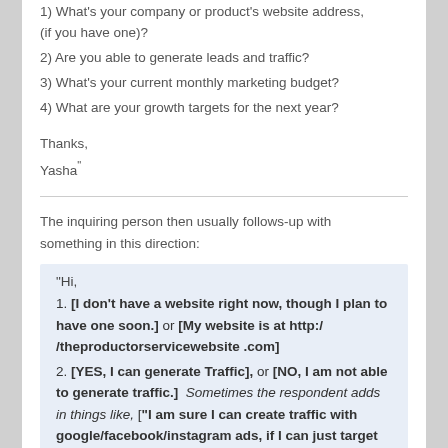1) What's your company or product's website address, (if you have one)?
2) Are you able to generate leads and traffic?
3) What's your current monthly marketing budget?
4) What are your growth targets for the next year?
Thanks,
Yasha"
The inquiring person then usually follows-up with something in this direction:
"Hi,
1. [I don't have a website right now, though I plan to have one soon.] or [My website is at http://theproductorservicewebsite .com]
2. [YES, I can generate Traffic], or [NO, I am not able to generate traffic.] Sometimes the respondent adds in things like, ["I am sure I can create traffic with google/facebook/instagram ads, if I can just target